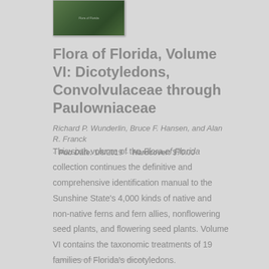[Figure (photo): Book cover thumbnail showing a green forest/botanical scene for Flora of Florida]
Flora of Florida, Volume VI: Dicotyledons, Convolvulaceae through Paulowniaceae
Richard P. Wunderlin, Bruce F. Hansen, and Alan R. Franck
· Pub Date: 1/8/2019 · Hardcover: $70.00
This sixth volume of the Flora of Florida collection continues the definitive and comprehensive identification manual to the Sunshine State's 4,000 kinds of native and non-native ferns and fern allies, nonflowering seed plants, and flowering seed plants. Volume VI contains the taxonomic treatments of 19 families of Florida's dicotyledons.